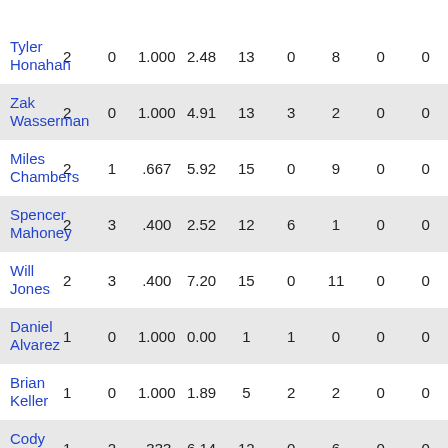| Tyler Honahan | 2 | 0 | 1.000 | 2.48 | 13 | 0 | 8 | 0 | 0 |
| Zak Wasserman | 2 | 0 | 1.000 | 4.91 | 13 | 3 | 2 | 0 | 0 |
| Miles Chambers | 2 | 1 | .667 | 5.92 | 15 | 0 | 9 | 0 | 0 |
| Spencer Mahoney | 2 | 3 | .400 | 2.52 | 12 | 6 | 1 | 0 | 0 |
| Will Jones | 2 | 3 | .400 | 7.20 | 15 | 0 | 11 | 0 | 0 |
| Daniel Alvarez | 1 | 0 | 1.000 | 0.00 | 1 | 1 | 0 | 0 | 0 |
| Brian Keller | 1 | 0 | 1.000 | 1.89 | 5 | 2 | 2 | 0 | 0 |
| Cody Hamlin | 1 | 2 | .333 | 6.14 | 12 | 0 | 6 | 0 | 0 |